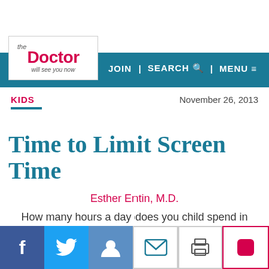the Doctor will see you now | JOIN | SEARCH | MENU
KIDS
November 26, 2013
Time to Limit Screen Time
Esther Entin, M.D.
How many hours a day does you child spend in front of a screen? You can bring it under control.